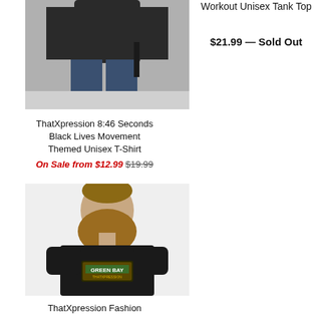[Figure (photo): Person wearing black t-shirt, cropped view showing torso and legs with jeans, carrying luggage]
ThatXpression 8:46 Seconds Black Lives Movement Themed Unisex T-Shirt
On Sale from $12.99 $19.99
Workout Unisex Tank Top
$21.99 — Sold Out
[Figure (photo): Man with large beard wearing a black Green Bay themed t-shirt, portrait style photo on white background]
ThatXpression Fashion